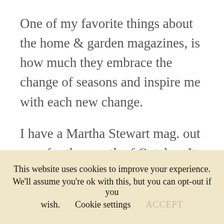One of my favorite things about the home & garden magazines, is how much they embrace the change of seasons and inspire me with each new change.
I have a Martha Stewart mag. out now for the month of October. Its chalk full of spooky, Halloween decor ideas, creative costumes, and seasonal recipes. The cover has the sweetest/spookiest fall scene with cat carved
This website uses cookies to improve your experience. We'll assume you're ok with this, but you can opt-out if you wish.    Cookie settings    ACCEPT